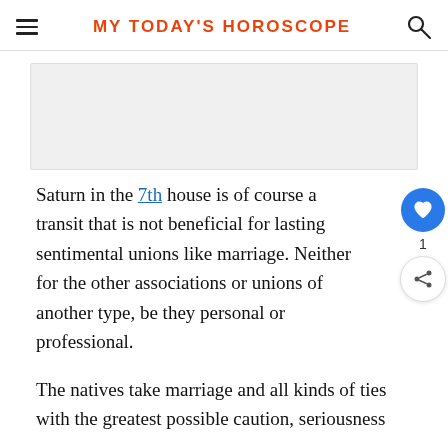MY TODAY'S HOROSCOPE
[Figure (other): Advertisement placeholder banner]
Saturn in the 7th house is of course a transit that is not beneficial for lasting sentimental unions like marriage. Neither for the other associations or unions of another type, be they personal or professional.
The natives take marriage and all kinds of ties with the greatest possible caution, seriousness